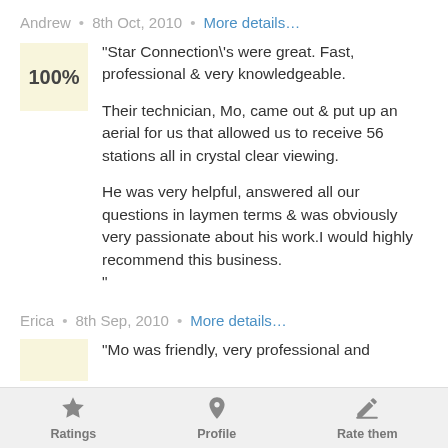Andrew · 8th Oct, 2010 · More details…
"Star Connection\'s were great. Fast, professional & very knowledgeable.

Their technician, Mo, came out & put up an aerial for us that allowed us to receive 56 stations all in crystal clear viewing.

He was very helpful, answered all our questions in laymen terms & was obviously very passionate about his work.I would highly recommend this business.
"
Erica · 8th Sep, 2010 · More details…
"Mo was friendly, very professional and
Ratings  Profile  Rate them